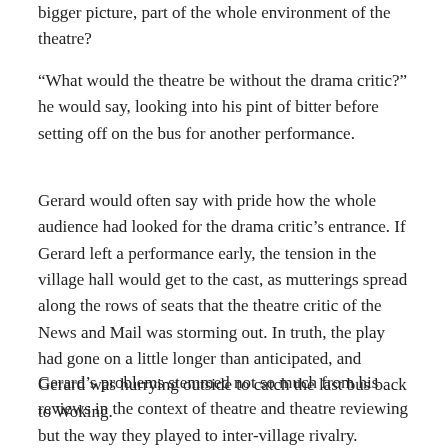bigger picture, part of the whole environment of the theatre?
“What would the theatre be without the drama critic?” he would say, looking into his pint of bitter before setting off on the bus for another performance.
Gerard would often say with pride how the whole audience had looked for the drama critic’s entrance. If Gerard left a performance early, the tension in the village hall would get to the cast, as mutterings spread along the rows of seats that the theatre critic of the News and Mail was storming out. In truth, the play had gone on a little longer than anticipated, and Gerard was hurrying outside to catch the last bus back to Woking.
Gerard’s problems stemmed not so much from his reviews in the context of theatre and theatre reviewing but the way they played to inter-village rivalry. Everybody in amateur theatrical circles knew the reviews to be the self-centred rantings of a